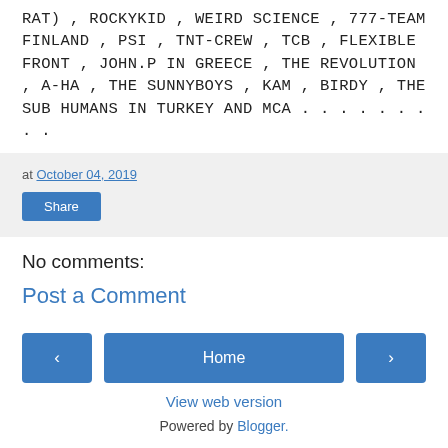RAT) , ROCKYKID , WEIRD SCIENCE , 777-TEAM FINLAND , PSI , TNT-CREW , TCB , FLEXIBLE FRONT , JOHN.P IN GREECE , THE REVOLUTION , A-HA , THE SUNNYBOYS , KAM , BIRDY , THE SUB HUMANS IN TURKEY AND MCA . . . . . . . . .
at October 04, 2019
Share
No comments:
Post a Comment
‹
Home
›
View web version
Powered by Blogger.